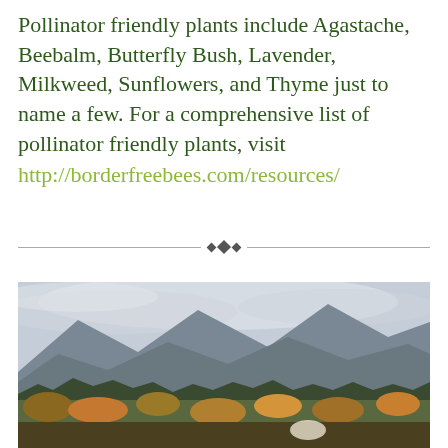Pollinator friendly plants include Agastache, Beebalm, Butterfly Bush, Lavender, Milkweed, Sunflowers, and Thyme just to name a few. For a comprehensive list of pollinator friendly plants, visit http://borderfreebees.com/resources/
[Figure (photo): Landscape photo showing an autumn orchard or farm with colorful foliage in fall colors, backed by mountains partially obscured by clouds, with a cloudy gray sky above.]